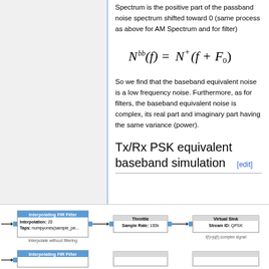Spectrum is the positive part of the passband noise spectrum shifted toward 0 (same process as above for AM Spectrum and for filter)
So we find that the baseband equivalent noise is a low frequency noise. Furthermore, as for filters, the baseband equivalent noise is complex, its real part and imaginary part having the same variance (power).
Tx/Rx PSK equivalent baseband simulation [edit]
[Figure (engineering-diagram): Block diagram showing signal chain: input arrow to Interpolating FIR Filter (Interpolation: 20, Taps: numpyones(sample_pe...)), labeled 'Interpolate without filtering', then arrow to Throttle (Sample Rate: 100k), then arrow to Virtual Sink (Stream ID: QPSK), labeled 'I(t)+jq(t) complex signal'. A second row starts with another Interpolating FIR Filter block at the bottom.]